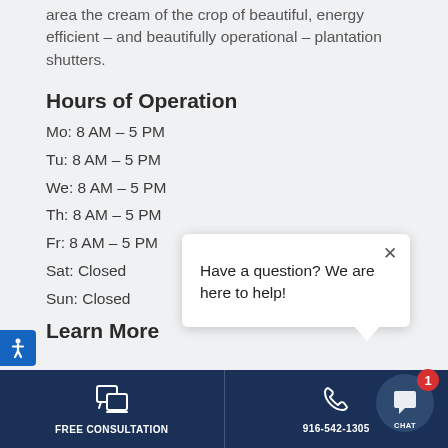area the cream of the crop of beautiful, energy efficient – and beautifully operational – plantation shutters.
Hours of Operation
Mo: 8 AM – 5 PM
Tu: 8 AM – 5 PM
We: 8 AM – 5 PM
Th: 8 AM – 5 PM
Fr: 8 AM – 5 PM
Sat: Closed
Sun: Closed
Learn More
[Figure (screenshot): Chat popup with close button and text: Have a question? We are here to help!]
FREE CONSULTATION | 916-542-1305